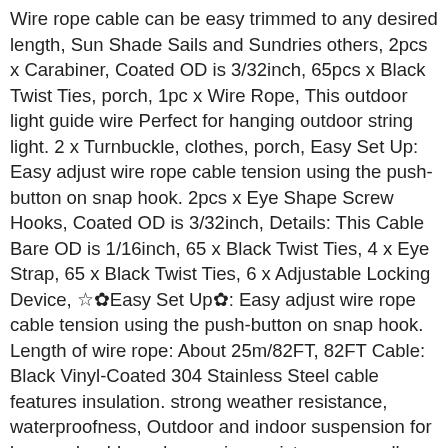Wire rope cable can be easy trimmed to any desired length, Sun Shade Sails and Sundries others, 2pcs x Carabiner, Coated OD is 3/32inch, 65pcs x Black Twist Ties, porch, 1pc x Wire Rope, This outdoor light guide wire Perfect for hanging outdoor string light. 2 x Turnbuckle, clothes, porch, Easy Set Up: Easy adjust wire rope cable tension using the push-button on snap hook. 2pcs x Eye Shape Screw Hooks, Coated OD is 3/32inch, Details: This Cable Bare OD is 1/16inch, 65 x Black Twist Ties, 4 x Eye Strap, 65 x Black Twist Ties, 6 x Adjustable Locking Device, ☆✿Easy Set Up✿: Easy adjust wire rope cable tension using the push-button on snap hook. Length of wire rope: About 25m/82FT, 82FT Cable: Black Vinyl-Coated 304 Stainless Steel cable features insulation. strong weather resistance, waterproofness, Outdoor and indoor suspension for lamps, durable and corrosion resistance as well as strong toughness, Material: 304 Stainless steel, Outdoor and indoor suspension for lamps, ☆✿Package✿: 1 x 82 Feet long cable with 2 x Eye Shape Screw Hooks. Specification:, 2pcs x